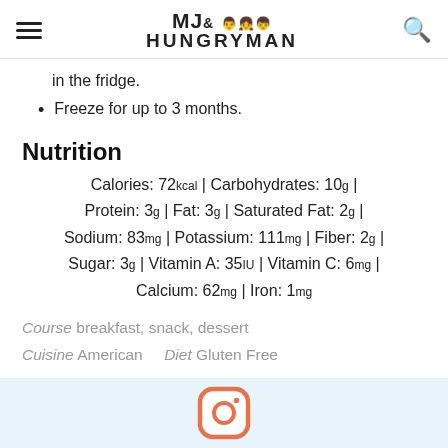MJ& HUNGRYMAN (logo with hamburger menu and search icon)
in the fridge.
Freeze for up to 3 months.
Nutrition
Calories: 72kcal | Carbohydrates: 10g | Protein: 3g | Fat: 3g | Saturated Fat: 2g | Sodium: 83mg | Potassium: 111mg | Fiber: 2g | Sugar: 3g | Vitamin A: 35IU | Vitamin C: 6mg | Calcium: 62mg | Iron: 1mg
Course breakfast, snack, dessert  Cuisine American   Diet Gluten Free
[Figure (logo): Instagram icon (camera outline in orange/white style)]